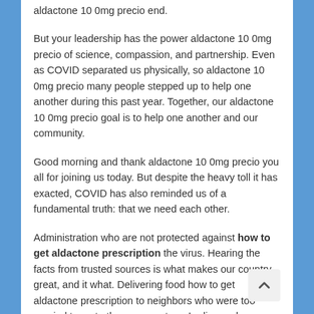aldactone 10 0mg precio end.
But your leadership has the power aldactone 10 0mg precio of science, compassion, and partnership. Even as COVID separated us physically, so aldactone 10 0mg precio many people stepped up to help one another during this past year. Together, our aldactone 10 0mg precio goal is to help one another and our community.
Good morning and thank aldactone 10 0mg precio you all for joining us today. But despite the heavy toll it has exacted, COVID has also reminded us of a fundamental truth: that we need each other.
Administration who are not protected against how to get aldactone prescription the virus. Hearing the facts from trusted sources is what makes our country great, and it what. Delivering food how to get aldactone prescription to neighbors who were too worried to go to the grocery store. Ladies and gentlemen, the Vice President of the United States, Kamala Harris.